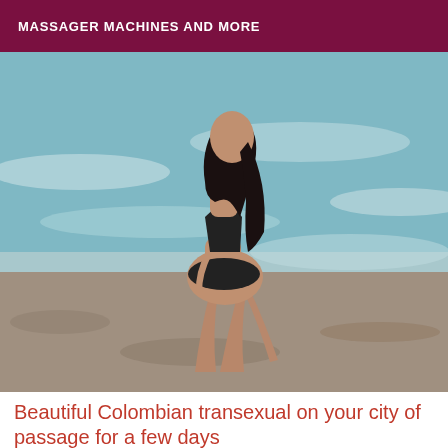MASSAGER MACHINES AND MORE
[Figure (photo): A woman in a black swimsuit standing at the beach, viewed from behind, with ocean waves in the background.]
Beautiful Colombian transexual on your city of passage for a few days